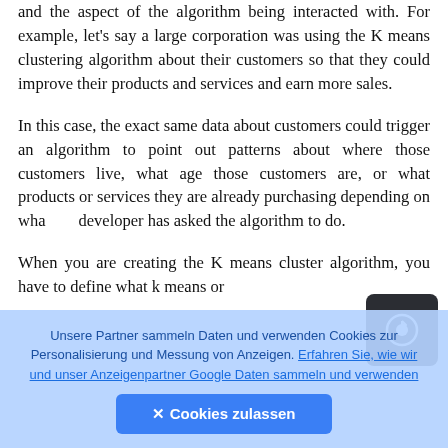and the aspect of the algorithm being interacted with. For example, let's say a large corporation was using the K means clustering algorithm about their customers so that they could improve their products and services and earn more sales.
In this case, the exact same data about customers could trigger an algorithm to point out patterns about where those customers live, what age those customers are, or what products or services they are already purchasing depending on what the developer has asked the algorithm to do.
When you are creating the K means cluster algorithm, you have to define what k means or
[Figure (other): Dark rounded square button with a camera/record icon (circle with arrow up) in the center]
Unsere Partner sammeln Daten und verwenden Cookies zur Personalisierung und Messung von Anzeigen. Erfahren Sie, wie wir und unser Anzeigenpartner Google Daten sammeln und verwenden